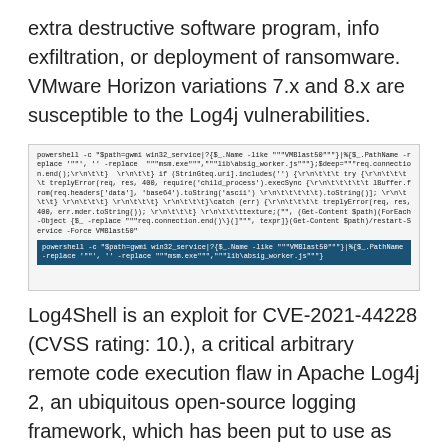extra destructive software program, info exfiltration, or deployment of ransomware. VMware Horizon variations 7.x and 8.x are susceptible to the Log4j vulnerabilities.
[Figure (screenshot): Screenshot of PowerShell command code block related to VMblast50 service manipulation, with a highlighted command line at the bottom showing: powershell -c "$path=gwmi win32_service|?{$_.Name -like """VMblast50"""}}|%{$_.PathName -replace '"""', '' -replace '"""msm.exe"""','"""lib\absig_worker.js"""}]
Log4Shell is an exploit for CVE-2021-44228 (CVSS rating: 10.), a critical arbitrary remote code execution flaw in Apache Log4j 2, an ubiquitous open-source logging framework, which has been put to use as element of various malware strategies given that it came to light in December 2021. An array of